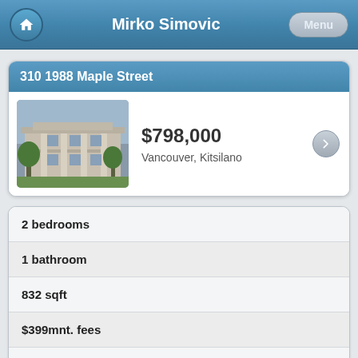Mirko Simovic
310 1988 Maple Street
[Figure (photo): Exterior photo of a multi-story building with columns and green trees in front]
$798,000
Vancouver, Kitsilano
2 bedrooms
1 bathroom
832 sqft
$399mnt. fees
built in 1988
$2,095 taxes in 2021
Apartment